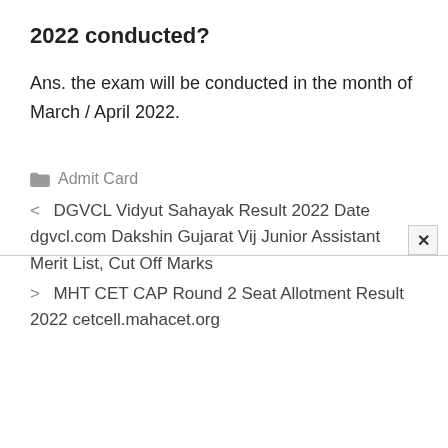2022 conducted?
Ans. the exam will be conducted in the month of March / April 2022.
Admit Card
< DGVCL Vidyut Sahayak Result 2022 Date dgvcl.com Dakshin Gujarat Vij Junior Assistant Merit List, Cut Off Marks
> MHT CET CAP Round 2 Seat Allotment Result 2022 cetcell.mahacet.org